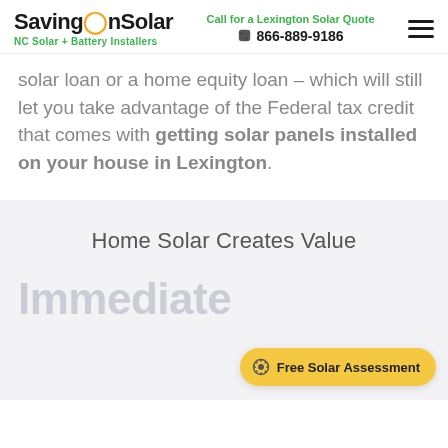SavingOnSolar — NC Solar + Battery Installers | Call for a Lexington Solar Quote 866-889-9186
solar loan or a home equity loan – which will still let you take advantage of the Federal tax credit that comes with getting solar panels installed on your house in Lexington.
Home Solar Creates Value
Immediate